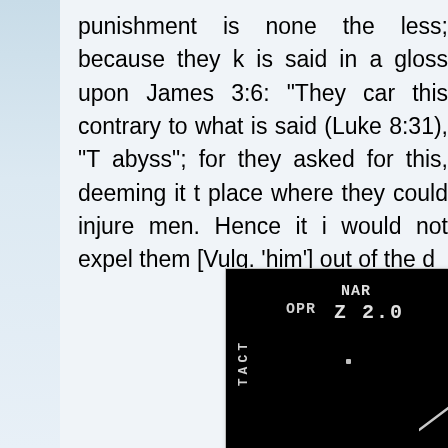punishment is none the less; because they k is said in a gloss upon James 3:6: "They car this contrary to what is said (Luke 8:31), "T abyss"; for they asked for this, deeming it t place where they could injure men. Hence it i would not expel them [Vulg. 'him'] out of the d
[Figure (photo): Night vision or HUD (Heads-Up Display) camera footage showing a dark black screen with white monospaced text overlays: 'NAR' at top, 'OPR' and 'Z 2.0' below it, 'TACT' vertically on the left side, a small white dot/object in the center, and a white angular shape (possible craft or object) visible at the bottom right.]